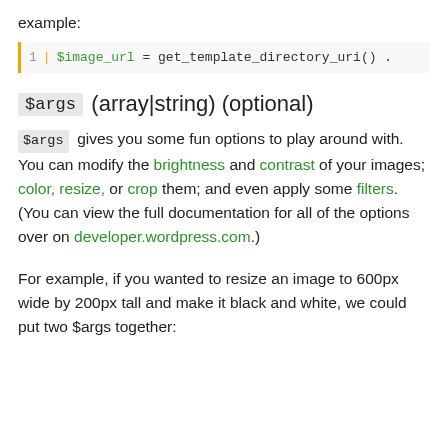example:
[Figure (screenshot): Code snippet showing line 1: $image_url = get_template_directory_uri() .]
$args  (array|string) (optional)
$args gives you some fun options to play around with. You can modify the brightness and contrast of your images; color, resize, or crop them; and even apply some filters. (You can view the full documentation for all of the options over on developer.wordpress.com.)
For example, if you wanted to resize an image to 600px wide by 200px tall and make it black and white, we could put two $args together: